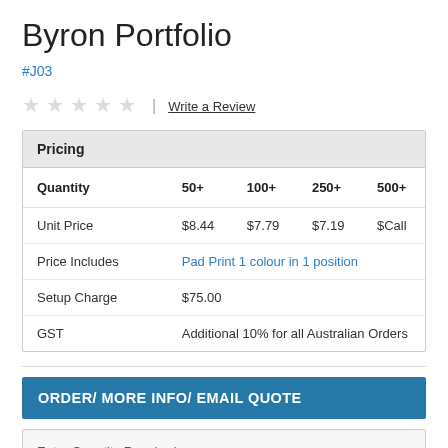Byron Portfolio
#J03
★★★★★  |  Write a Review
| Quantity | 50+ | 100+ | 250+ | 500+ |
| --- | --- | --- | --- | --- |
| Unit Price | $8.44 | $7.79 | $7.19 | $Call |
| Price Includes | Pad Print 1 colour in 1 position |  |  |  |
| Setup Charge | $75.00 |  |  |  |
| GST | Additional 10% for all Australian Orders |  |  |  |
ORDER/ MORE INFO/ EMAIL QUOTE
Enter Quantity Required